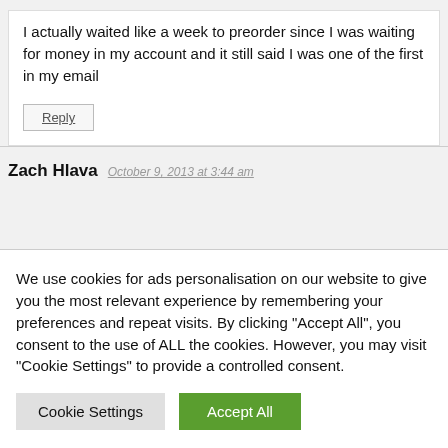I actually waited like a week to preorder since I was waiting for money in my account and it still said I was one of the first in my email
Reply
Zach Hlava
October 9, 2013 at 3:44 am
We use cookies for ads personalisation on our website to give you the most relevant experience by remembering your preferences and repeat visits. By clicking "Accept All", you consent to the use of ALL the cookies. However, you may visit "Cookie Settings" to provide a controlled consent.
Cookie Settings
Accept All